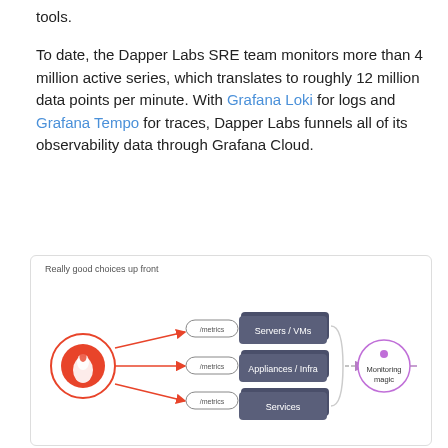tools.
To date, the Dapper Labs SRE team monitors more than 4 million active series, which translates to roughly 12 million data points per minute. With Grafana Loki for logs and Grafana Tempo for traces, Dapper Labs funnels all of its observability data through Grafana Cloud.
[Figure (flowchart): Flowchart titled 'Really good choices up front' showing a Prometheus-like source icon on the left sending /metrics arrows to three dark boxes: Servers / VMs, Appliances / Infra, and Services. These connect via a curly-brace bracket to a 'Monitoring magic' circle node, which then arrows to a Grafana logo circle on the right.]